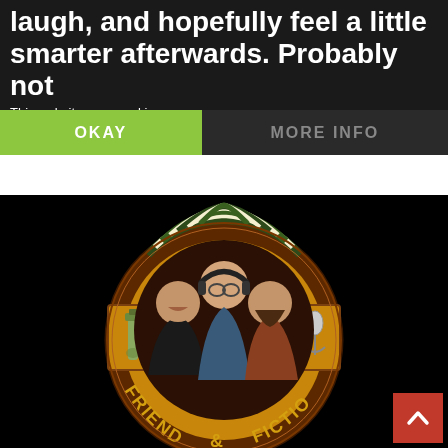laugh, and hopefully feel a little smarter afterwards. Probably not
This website uses cookies
OKAY
MORE INFO
[Figure (logo): Friends & Fiction podcast logo — circular badge with three illustrated men (one wearing headphones and glasses in center, one laughing on left, one with beard on right), decorative Art Deco style outer ring with colored panels, tequila bottle and microphone in side panels, text 'FRIENDS & FICTION' along the bottom arc, all on black background]
[Figure (other): Red scroll-to-top button with upward chevron arrow, positioned bottom-right corner]